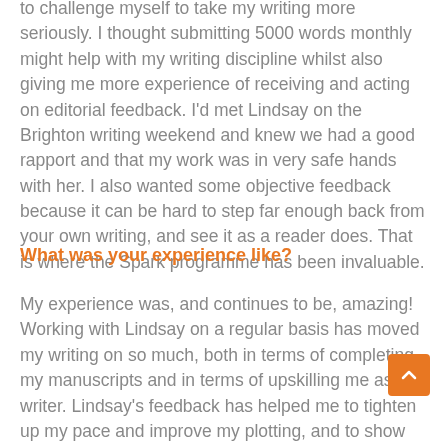to challenge myself to take my writing more seriously. I thought submitting 5000 words monthly might help with my writing discipline whilst also giving me more experience of receiving and acting on editorial feedback. I'd met Lindsay on the Brighton writing weekend and knew we had a good rapport and that my work was in very safe hands with her. I also wanted some objective feedback because it can be hard to step far enough back from your own writing, and see it as a reader does. That is where the Spark programme has been invaluable.
What was your experience like?
My experience was, and continues to be, amazing! Working with Lindsay on a regular basis has moved my writing on so much, both in terms of completing my manuscripts and in terms of upskilling me as a writer. Lindsay's feedback has helped me to tighten up my pace and improve my plotting, and to show character and emotion through action rather than an